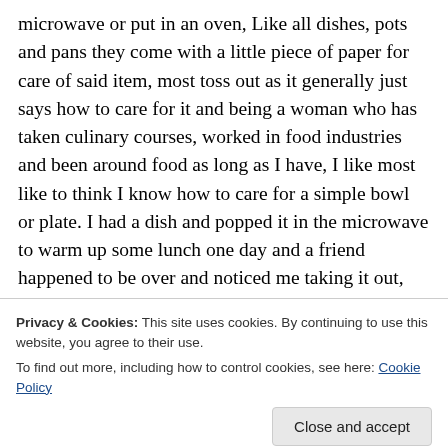microwave or put in an oven, Like all dishes, pots and pans they come with a little piece of paper for care of said item, most toss out as it generally just says how to care for it and being a woman who has taken culinary courses, worked in food industries and been around food as long as I have, I like most like to think I know how to care for a simple bowl or plate. I had a dish and popped it in the microwave to warm up some lunch one day and a friend happened to be over and noticed me taking it out, asked if it was a
Privacy & Cookies: This site uses cookies. By continuing to use this website, you agree to their use. To find out more, including how to control cookies, see here: Cookie Policy
friends do things to protect us, but I was